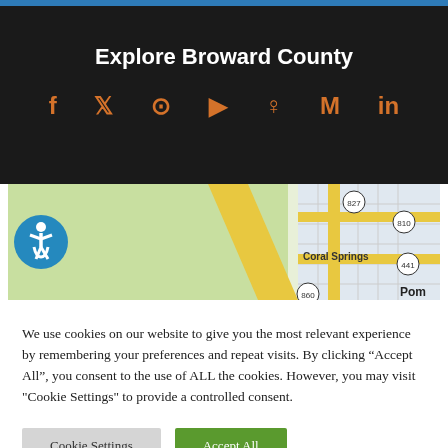Explore Broward County
[Figure (screenshot): Social media icons: Facebook, Twitter, Dribbble/globe, YouTube, Pinterest, Medium, LinkedIn displayed in orange on dark background]
[Figure (map): Google Maps partial view showing Coral Springs area with road numbers 827, 810, 441, 860 visible]
We use cookies on our website to give you the most relevant experience by remembering your preferences and repeat visits. By clicking “Accept All”, you consent to the use of ALL the cookies. However, you may visit "Cookie Settings" to provide a controlled consent.
Cookie Settings
Accept All